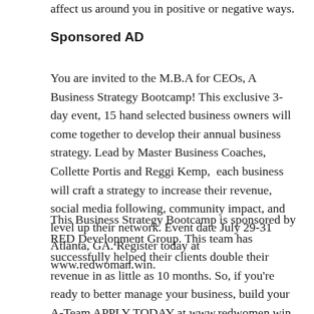affect us around you in positive or negative ways.
Sponsored AD
You are invited to the M.B.A for CEOs, A  Business Strategy Bootcamp! This exclusive 3-day event, 15 hand selected business owners will come together to develop their annual business strategy. Lead by Master Business Coaches, Collette Portis and Reggi Kemp,  each business will craft a strategy to increase their revenue, social media following, community impact, and level up their network. Event date July 29-31 Atlanta, GA. Register today at www.redwoman.win.
This Business Strategy Bootcamp is sponsored by  RED Development Group. This team has successfully helped their clients double their revenue in as little as 10 months. So, if you're ready to better manage your business, build your A-Team APPLY TODAY at www.redwomen.win.